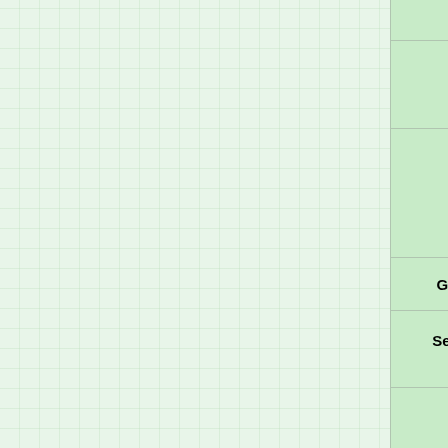| Platform | Games |
| --- | --- |
| N64 | Namco) • The Empire Strikes B... |
| Mac OS Classic | Star Wars • Anakin's Speedwa...
Jedi Knight II: Jedi Outcast |
| SNES | Super Star Wars •
Super The Empire Strikes Bac...
Super Return of the Jedi |
| Game Gear | Star Wars |
| Sega Master System | Star Wars |
| DOS | Star Wars • TIE Fighter •
Dark Forces |
| Windows | TIE Fighter Collector's Edition
Dark Forces •
Jedi Knight: Dark Forces II •
Yoda Stories •
X-Wing vs. TIE Fighter •
Star Wars: Monopoly •
Shadows of the Empire •
Rogue Squadron •
Episode I: The Phantom Mena... |